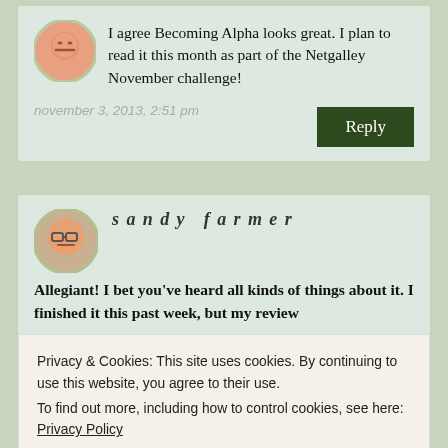I agree Becoming Alpha looks great. I plan to read it this month as part of the Netgalley November challenge!
november 3, 2013, 2:51 pm
Reply
sandy farmer
Allegiant! I bet you've heard all kinds of things about it. I finished it this past week, but my review
Privacy & Cookies: This site uses cookies. By continuing to use this website, you agree to their use.
To find out more, including how to control cookies, see here: Privacy Policy
Close and accept
november 3, 2013, 2:51 pm
Reply